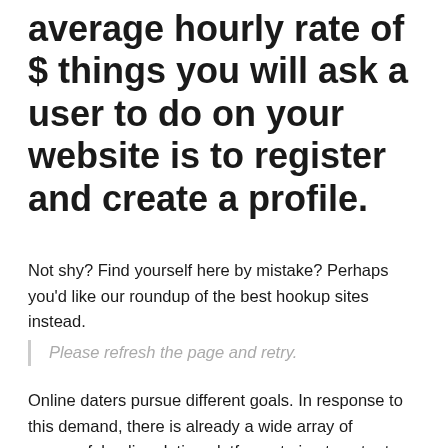average hourly rate of $ things you will ask a user to do on your website is to register and create a profile.
Not shy? Find yourself here by mistake? Perhaps you'd like our roundup of the best hookup sites instead.
Please refresh the page and retry.
Online daters pursue different goals. In response to this demand, there is already a wide array of successful online dating platforms trying to cater to those needs, along with the diverse interests of users. We will also give you rough estimations of how much time and money it may take to